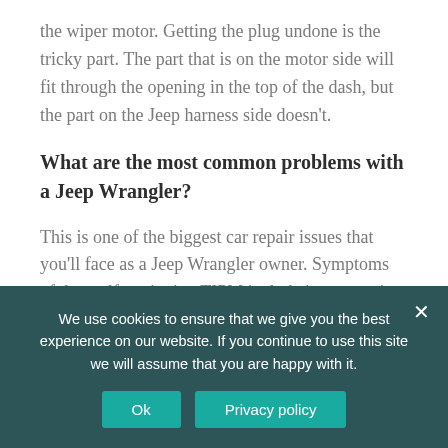the wiper motor. Getting the plug undone is the tricky part. The part that is on the motor side will fit through the opening in the top of the dash, but the part on the Jeep harness side doesn't.
What are the most common problems with a Jeep Wrangler?
This is one of the biggest car repair issues that you'll face as a Jeep Wrangler owner. Symptoms of the malfunctioning TIPM include issues getting the driver or passenger side window to roll down and
We use cookies to ensure that we give you the best experience on our website. If you continue to use this site we will assume that you are happy with it.